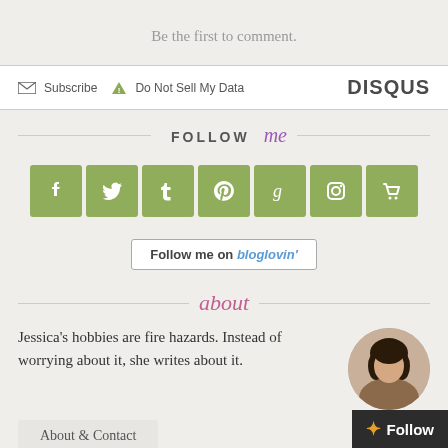Be the first to comment.
✉ Subscribe ⚠ Do Not Sell My Data  DISQUS
FOLLOW me
[Figure (infographic): Row of 7 green square social media icons: Facebook, Twitter, Tumblr, Pinterest, Goodreads, Instagram, shopping cart]
Follow me on bloglovin'
about
Jessica's hobbies are fire hazards. Instead of worrying about it, she writes about it.
[Figure (photo): Circular portrait photo of a woman with dark hair]
About & Contact
Follow